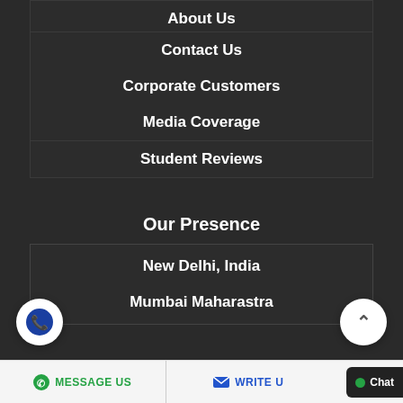About Us
Contact Us
Corporate Customers
Media Coverage
Student Reviews
Our Presence
New Delhi, India
Mumbai Maharastra
MESSAGE US   WRITE U   Chat